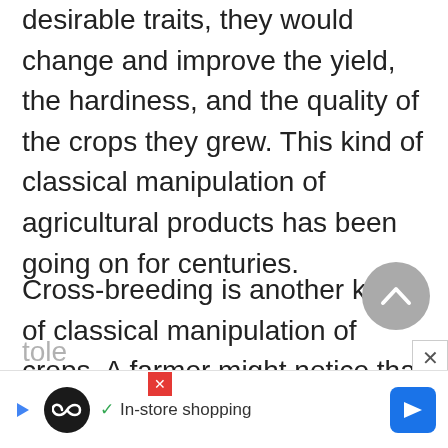desirable traits, they would change and improve the yield, the hardiness, and the quality of the crops they grew. This kind of classical manipulation of agricultural products has been going on for centuries.
Cross-breeding is another kind of classical manipulation of crops. A farmer might notice that one tomato plant yielded many fruits and that a different tomato plant was highly tolerant...